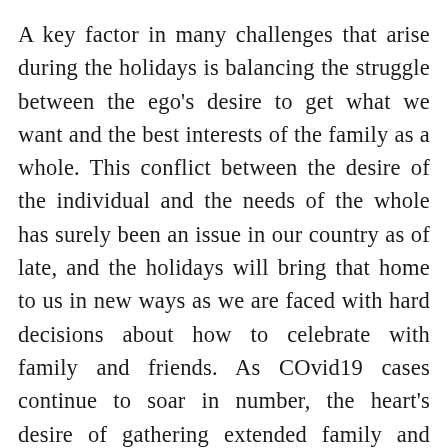A key factor in many challenges that arise during the holidays is balancing the struggle between the ego's desire to get what we want and the best interests of the family as a whole. This conflict between the desire of the individual and the needs of the whole has surely been an issue in our country as of late, and the holidays will bring that home to us in new ways as we are faced with hard decisions about how to celebrate with family and friends. As COvid19 cases continue to soar in number, the heart's desire of gathering extended family and friends can have serious consequences and may prove not to be in the best interest of the family, the community, or humanity. While traditions may support such gatherings, we need to look at whether those traditions may be like cutting the ends off the ham, no longer appropriate to the